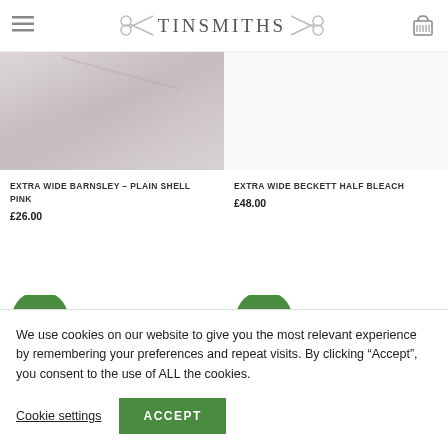TINSMITHS
[Figure (photo): Close-up photo of Extra Wide Barnsley Plain Shell Pink fabric, showing a light pink/grey woven textile texture]
EXTRA WIDE BARNSLEY – PLAIN SHELL PINK
£26.00
EXTRA WIDE BECKETT HALF BLEACH
£48.00
[Figure (logo): Green Eco badge - rounded top badge shape with text 'Eco']
[Figure (logo): Green ECO badge - rounded top badge shape with text 'ECO']
We use cookies on our website to give you the most relevant experience by remembering your preferences and repeat visits. By clicking "Accept", you consent to the use of ALL the cookies.
Cookie settings
ACCEPT